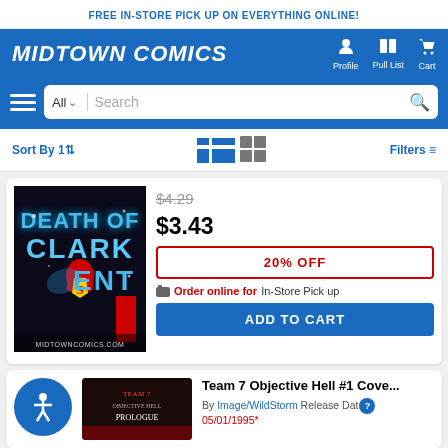FREE IN-STORE PICK UP ON EVERYTHING ONLINE!
[Figure (logo): Midtown Comics logo in white italic bold text on blue background with Profile, Pull List, Cart navigation icons]
[Figure (screenshot): Search bar with All dropdown, Search input, and magnifying glass icon on blue background with hamburger menu]
Sort By 1↑   [list view icon] [grid view icon]   Filters
[Figure (illustration): Death of Clark Kent comic book cover - dark background with blue sparkly text showing DEATH OF CLARK KENT, Superman logo visible, MIDTOWNCOMICS.COM watermark]
$4.29
$3.43
20% OFF
Order online for In-Store Pick up
ADD TO CART
Team 7 Objective Hell #1 Cove...
By Image/WildStorm Release Dat... 05/01/1995*